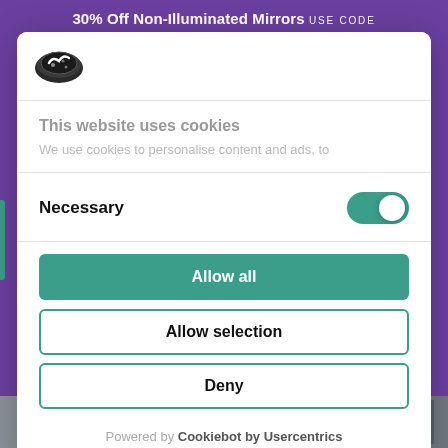30% Off Non-Illuminated Mirrors USE CODE
[Figure (logo): Cookiebot logo — a stylized cookie icon (dark oval with white checkmark design)]
This website uses cookies
We use cookies to personalise content and ads, to
Necessary
Allow all
Allow selection
Deny
Powered by Cookiebot by Usercentrics
[Figure (photo): Bathroom scene photograph visible at the bottom of the page, showing a dark bathroom interior with shelving and decor items]